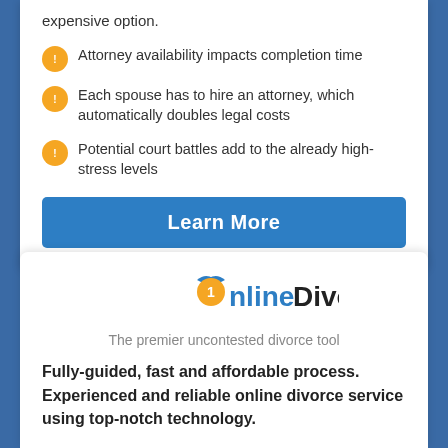expensive option.
Attorney availability impacts completion time
Each spouse has to hire an attorney, which automatically doubles legal costs
Potential court battles add to the already high-stress levels
Learn More
[Figure (logo): OnlineDivorce logo with orange medal icon and blue bird wings]
The premier uncontested divorce tool
Fully-guided, fast and affordable process. Experienced and reliable online divorce service using top-notch technology.